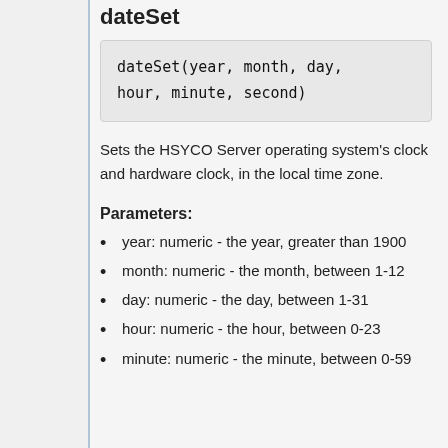dateSet
Sets the HSYCO Server operating system's clock and hardware clock, in the local time zone.
Parameters:
year: numeric - the year, greater than 1900
month: numeric - the month, between 1-12
day: numeric - the day, between 1-31
hour: numeric - the hour, between 0-23
minute: numeric - the minute, between 0-59